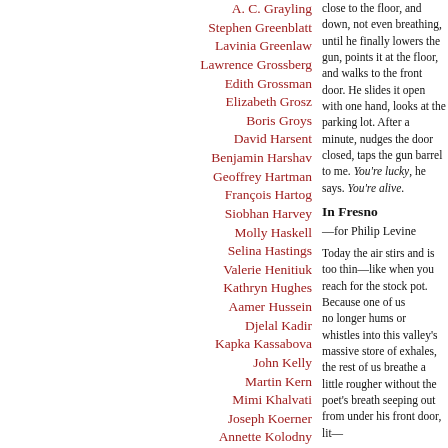A. C. Grayling
Stephen Greenblatt
Lavinia Greenlaw
Lawrence Grossberg
Edith Grossman
Elizabeth Grosz
Boris Groys
David Harsent
Benjamin Harshav
Geoffrey Hartman
François Hartog
Siobhan Harvey
Molly Haskell
Selina Hastings
Valerie Henitiuk
Kathryn Hughes
Aamer Hussein
Djelal Kadir
Kapka Kassabova
John Kelly
Martin Kern
Mimi Khalvati
Joseph Koerner
Annette Kolodny
Julia Kristeva
George Landow
Chang-Rae Lee
Mabel Lee
Linda Leith
Suzanne Jill Levine
Lydia Liu
Margot Livesey
Julia Lovell
close to the floor, and down, not even breathing, until he finally lowers the gun, points it at the floor, and walks to the front door. He slides it open with one hand, looks at the parking lot. After a minute, nudges the door closed, taps the gun barrel to me. You're lucky, he says. You're alive.
In Fresno
—for Philip Levine
Today the air stirs and is too thin—like when you reach for the stock pot. Because one of us no longer hums or whistles into this valley's massive store of exhales, the rest of us breathe a little rougher without the poet's breath seeping out from under his front door, lit—